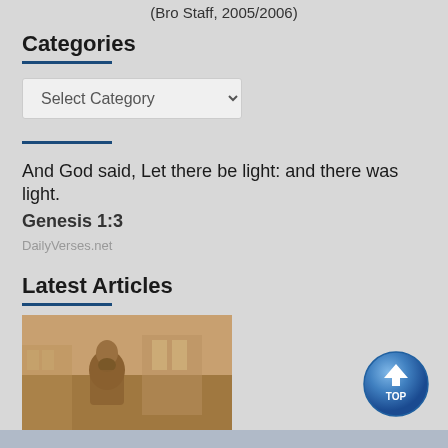(Bro Staff, 2005/2006)
Categories
Select Category
And God said, Let there be light: and there was light. Genesis 1:3
DailyVerses.net
Latest Articles
[Figure (photo): Sepia-toned photograph of a man seated indoors]
[Figure (other): Blue circular TOP button with upward arrow]